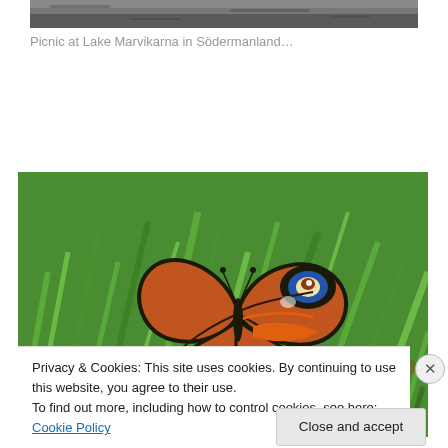[Figure (photo): Top portion of a photo, dark background, possibly a road or landscape.]
Picnic at Lake Marvikarna in Södermanland…
[Figure (photo): Close-up photo of a European Peacock butterfly (Aglais io) resting on green grass/vegetation. The butterfly has distinctive orange-red wings with eye-spot markings in black, white, and blue.]
Privacy & Cookies: This site uses cookies. By continuing to use this website, you agree to their use.
To find out more, including how to control cookies, see here: Cookie Policy
Close and accept